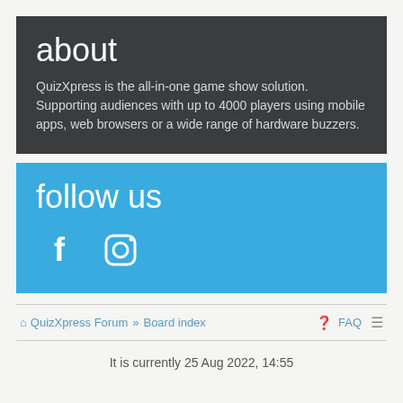about
QuizXpress is the all-in-one game show solution. Supporting audiences with up to 4000 players using mobile apps, web browsers or a wide range of hardware buzzers.
follow us
[Figure (illustration): Facebook and Instagram social media icons in white on blue background]
QuizXpress Forum » Board index FAQ
It is currently 25 Aug 2022, 14:55